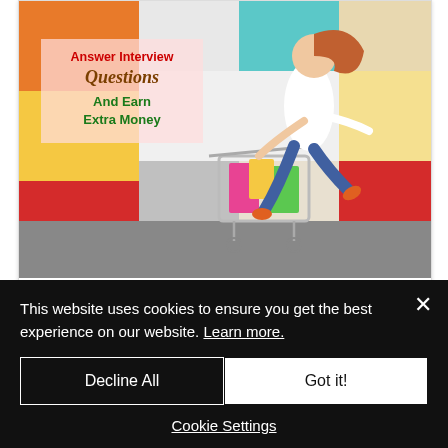[Figure (photo): A woman joyfully jumping while holding a shopping cart handle, in front of a colorful striped wall (orange, yellow, red, teal, white). Overlaid text box reads: 'Answer Interview Questions And Earn Extra Money'.]
Respondent.IO: Earn Extra Money Answering
This website uses cookies to ensure you get the best experience on our website. Learn more.
Decline All
Got it!
Cookie Settings